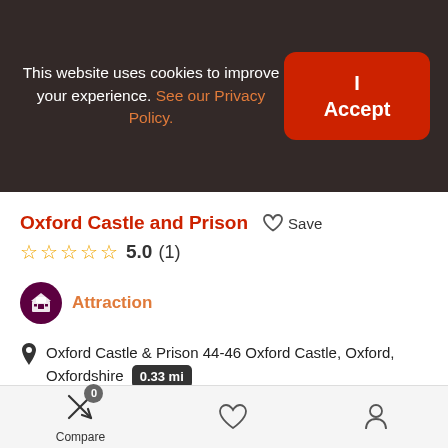This website uses cookies to improve your experience. See our Privacy Policy.
I Accept
Oxford Castle and Prison
Save
5.0 (1)
Attraction
Oxford Castle & Prison 44-46 Oxford Castle, Oxford, Oxfordshire 0.33 mi
01865 260666
[Figure (screenshot): Two circular green feature/amenity icons]
[Figure (photo): Partial photo strip visible at bottom of page]
Compare